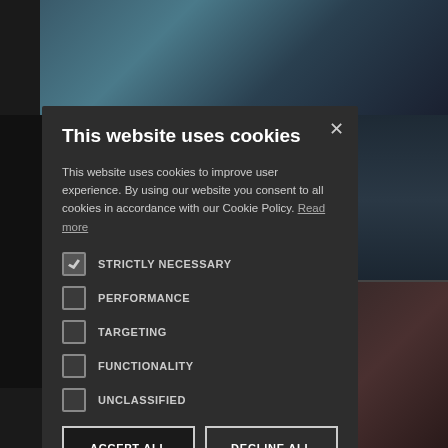[Figure (screenshot): Webpage screenshot showing a cookie consent modal dialog overlaid on a website with photos of people in the background. The modal has a dark gray background on a dark website.]
This website uses cookies
This website uses cookies to improve user experience. By using our website you consent to all cookies in accordance with our Cookie Policy. Read more
STRICTLY NECESSARY (checked)
PERFORMANCE
TARGETING
FUNCTIONALITY
UNCLASSIFIED
ACCEPT ALL
DECLINE ALL
SHOW DETAILS